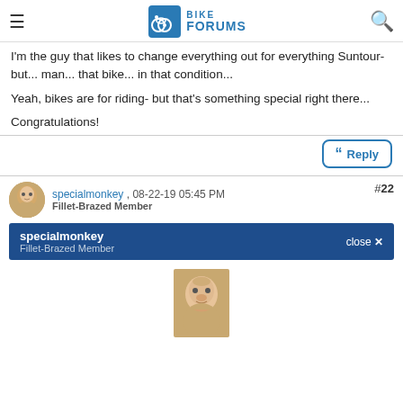BIKE FORUMS
I'm the guy that likes to change everything out for everything Suntour- but... man... that bike... in that condition...
Yeah, bikes are for riding- but that's something special right there...
Congratulations!
specialmonkey , 08-22-19 05:45 PM
Fillet-Brazed Member
#22
specialmonkey
Fillet-Brazed Member
close ✕
[Figure (photo): User avatar photo of specialmonkey, showing a bald-looking creature/person in a thinking pose]